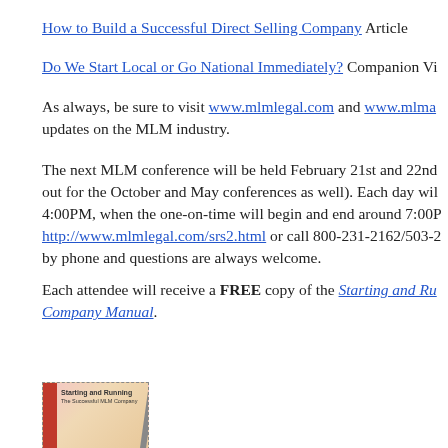How to Build a Successful Direct Selling Company Article
Do We Start Local or Go National Immediately? Companion Vi…
As always, be sure to visit www.mlmlegal.com and www.mlma… updates on the MLM industry.
The next MLM conference will be held February 21st and 22nd… out for the October and May conferences as well). Each day wil… 4:00PM, when the one-on-time will begin and end around 7:00P… http://www.mlmlegal.com/srs2.html or call 800-231-2162/503-2… by phone and questions are always welcome.
Each attendee will receive a FREE copy of the Starting and Ru… Company Manual.
[Figure (photo): Book cover of 'Starting and Running' MLM company manual with a pencil leaning against it]